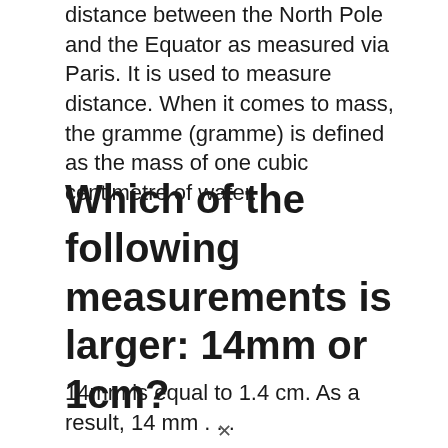distance between the North Pole and the Equator as measured via Paris. It is used to measure distance. When it comes to mass, the gramme (gramme) is defined as the mass of one cubic centimetre of water.
Which of the following measurements is larger: 14mm or 1cm?
14mm is equal to 1.4 cm. As a result, 14 mm . . .